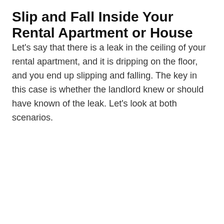Slip and Fall Inside Your Rental Apartment or House
Let's say that there is a leak in the ceiling of your rental apartment, and it is dripping on the floor, and you end up slipping and falling. The key in this case is whether the landlord knew or should have known of the leak. Let's look at both scenarios.